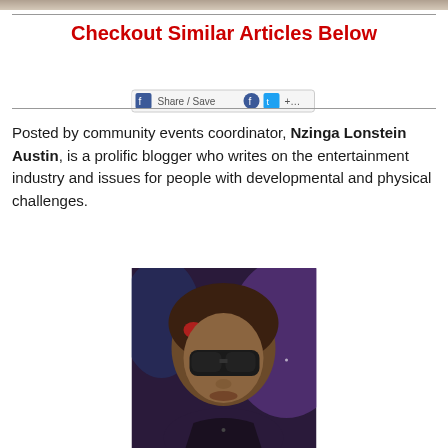[Figure (photo): Top decorative image strip showing partial photo at the top of the page]
Checkout Similar Articles Below
[Figure (screenshot): Social share/save button bar with Facebook, Twitter and other sharing icons]
Posted by community events coordinator, Nzinga Lonstein Austin, is a prolific blogger who writes on the entertainment industry and issues for people with developmental and physical challenges.
[Figure (photo): Photo of Nzinga Lonstein Austin wearing sunglasses, in a purple-lit environment]